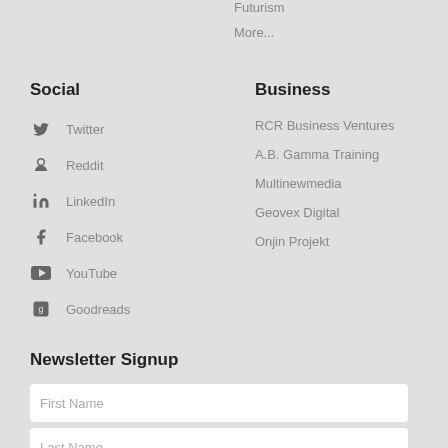Futurism
More...
Social
Business
Twitter
RCR Business Ventures
Reddit
A.B. Gamma Training
LinkedIn
Multinewmedia
Facebook
Geovex Digital
YouTube
Onjin Projekt
Goodreads
Newsletter Signup
First Name
Last Name